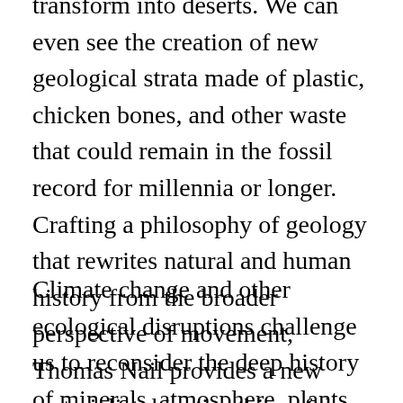transform into deserts. We can even see the creation of new geological strata made of plastic, chicken bones, and other waste that could remain in the fossil record for millennia or longer. Crafting a philosophy of geology that rewrites natural and human history from the broader perspective of movement, Thomas Nail provides a new materialist, kinetic ethics of the earth that speaks to this moment.
Climate change and other ecological disruptions challenge us to reconsider the deep history of minerals, atmosphere, plants, and animals and to take a more process-oriented perspective that sees